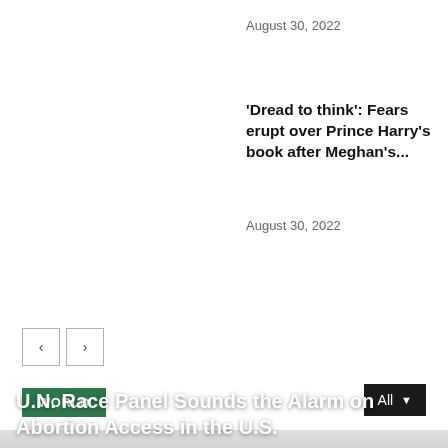August 30, 2022
'Dread to think': Fears erupt over Prince Harry's book after Meghan's...
August 30, 2022
[Figure (screenshot): Navigation arrows (left and right chevron buttons)]
WORLD
All
[Figure (photo): Gray gradient image background for World news section]
U.N. Race Panel Sounds the Alarm on Abortion Access in the U.S.